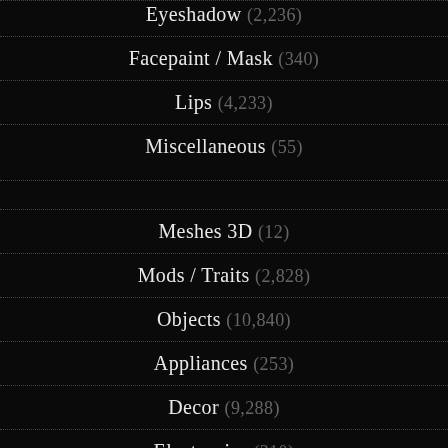Eyeshadow (2,236)
Facepaint / Mask (340)
Lips (4,233)
Miscellaneous (55)
Meshes 3D (12)
Mods / Traits (2,828)
Objects (10,840)
Appliances (253)
Decor (9,288)
Electronics (310)
Lighting (650)
Miscellaneous (458)